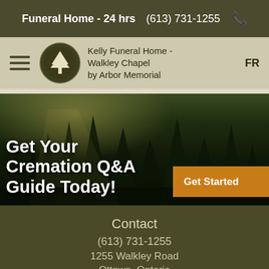Funeral Home - 24 hrs  (613) 731-1255
Kelly Funeral Home - Walkley Chapel by Arbor Memorial
[Figure (logo): Circular logo with a white tree silhouette on dark olive/brown background — Arbor Memorial logo]
FR
[Figure (photo): Forest scene with tall dark conifer trees, sunlight breaking through from upper left, dark moody atmosphere]
Get Your Cremation Q&A Guide Today!
Get Started ▶
Contact
(613) 731-1255
1255 Walkley Road
Ottawa, Ontario